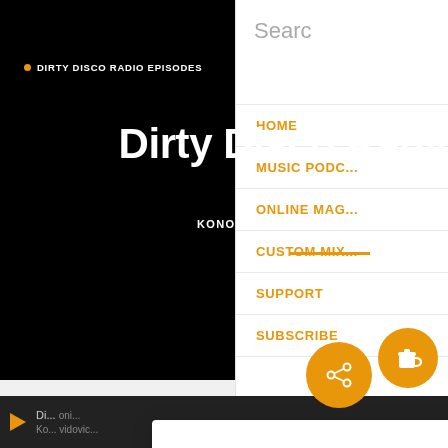Searc
DIRTY DISCO RADIO EPISODES
Dirty Disco Radio 197
KONO VIDOVIC   DECEMBER 26, 2016
[Figure (other): Share button circle with share icon]
HOME
MUSIC PODC...
ONLINE MAG...
CUSTOM MIX...
SUPPORT
SUBSCRIBE
For the complete post and tracklist, please go here
These po...
Thank you for visiting. You can now buy me a coffee!
[Figure (other): Coffee cup icon orange circle button]
Di... oni... Ko... vidovic...